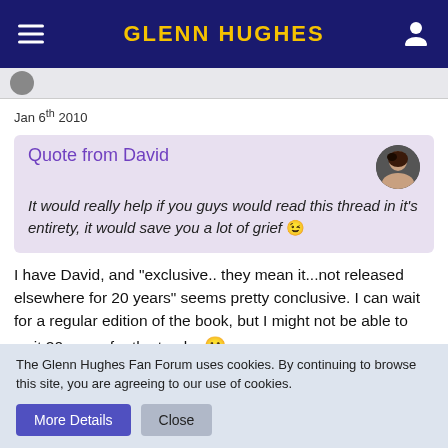Glenn Hughes
Jan 6th 2010
Quote from David
It would really help if you guys would read this thread in it's entirety, it would save you a lot of grief 😉
I have David, and "exclusive.. they mean it...not released elsewhere for 20 years" seems pretty conclusive. I can wait for a regular edition of the book, but I might not be able to wait 20 years for the tracks 🙂
The Glenn Hughes Fan Forum uses cookies. By continuing to browse this site, you are agreeing to our use of cookies.